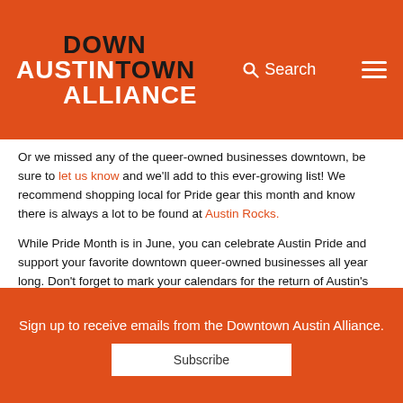Down Austin Town Alliance — Search — Menu
Or we missed any of the queer-owned businesses downtown, be sure to let us know and we'll add to this ever-growing list! We recommend shopping local for Pride gear this month and know there is always a lot to be found at Austin Rocks.
While Pride Month is in June, you can celebrate Austin Pride and support your favorite downtown queer-owned businesses all year long. Don't forget to mark your calendars for the return of Austin's annual Pride Parade, which takes place in August.
Sign up to receive emails from the Downtown Austin Alliance.
Subscribe